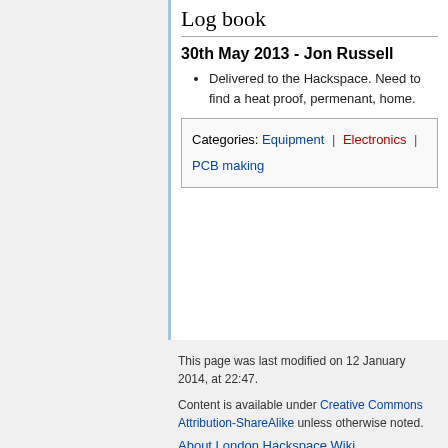Log book
30th May 2013 - Jon Russell
Delivered to the Hackspace. Need to find a heat proof, permenant, home.
Categories: Equipment | Electronics | PCB making
This page was last modified on 12 January 2014, at 22:47.
Content is available under Creative Commons Attribution-ShareAlike unless otherwise noted.
About London Hackspace Wiki
[Figure (logo): Creative Commons BY-SA badge]
[Figure (logo): Powered by MediaWiki badge]
[Figure (logo): Semantic MediaWiki badge]